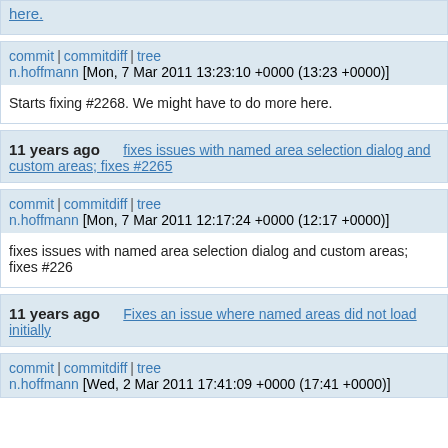here.
commit | commitdiff | tree
n.hoffmann [Mon, 7 Mar 2011 13:23:10 +0000 (13:23 +0000)]
Starts fixing #2268. We might have to do more here.
11 years ago    fixes issues with named area selection dialog and custom areas; fixes #2265
commit | commitdiff | tree
n.hoffmann [Mon, 7 Mar 2011 12:17:24 +0000 (12:17 +0000)]
fixes issues with named area selection dialog and custom areas; fixes #226
11 years ago    Fixes an issue where named areas did not load initially
commit | commitdiff | tree
n.hoffmann [Wed, 2 Mar 2011 17:41:09 +0000 (17:41 +0000)]